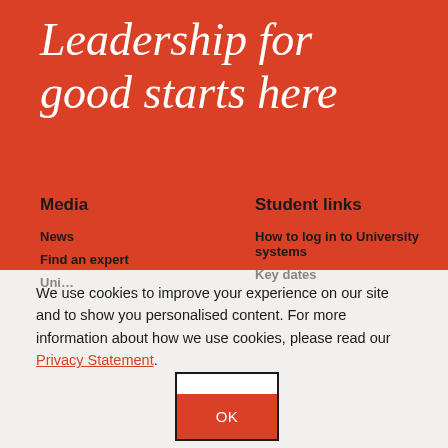Leadership for good starts here
Media
News
Find an expert
Student links
How to log in to University systems
Key dates
We use cookies to improve your experience on our site and to show you personalised content. For more information about how we use cookies, please read our Privacy Statement.
[Figure (other): OK button with white top section and red bottom section containing the text OK]